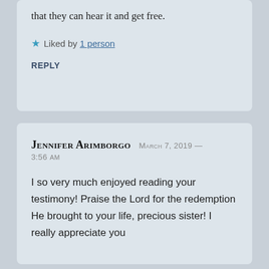that they can hear it and get free.
★ Liked by 1 person
REPLY
JENNIFER ARIMBORGO  MARCH 7, 2019 — 3:56 AM
I so very much enjoyed reading your testimony! Praise the Lord for the redemption He brought to your life, precious sister! I really appreciate you